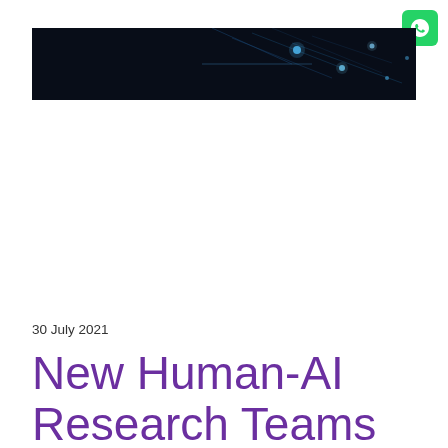[Figure (photo): Dark technology background image with blue glowing network nodes and light streaks on dark background]
30 July 2021
New Human-AI Research Teams